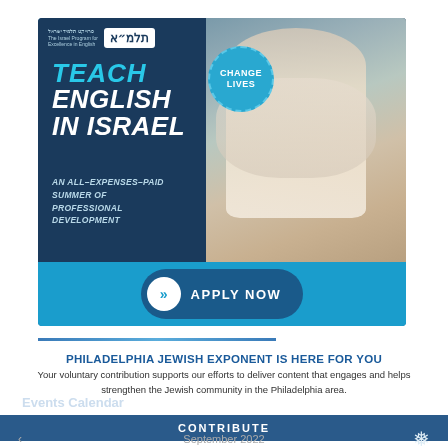[Figure (illustration): Advertisement banner for Talmid Israel program: 'Teach English in Israel – An all-expenses-paid summer of professional development' with 'Change Lives' badge and Apply Now button, dark navy and teal color scheme with photo of teacher helping student]
PHILADELPHIA JEWISH EXPONENT IS HERE FOR YOU
Your voluntary contribution supports our efforts to deliver content that engages and helps strengthen the Jewish community in the Philadelphia area.
CONTRIBUTE
September 2022